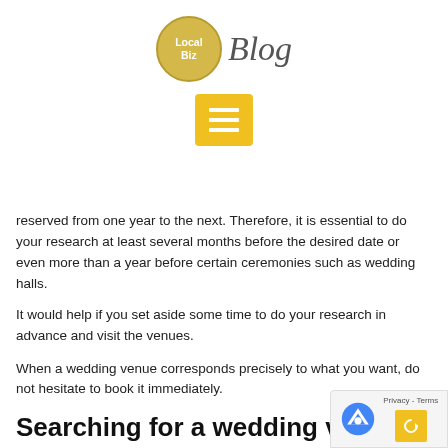Local Biz Blog
reserved from one year to the next. Therefore, it is essential to do your research at least several months before the desired date or even more than a year before certain ceremonies such as wedding halls.
It would help if you set aside some time to do your research in advance and visit the venues.
When a wedding venue corresponds precisely to what you want, do not hesitate to book it immediately.
Searching for a wedding venue: how?
A search for a wedding venue can be done in several ways:
– you can contact the town halls of the different communes that interest you;